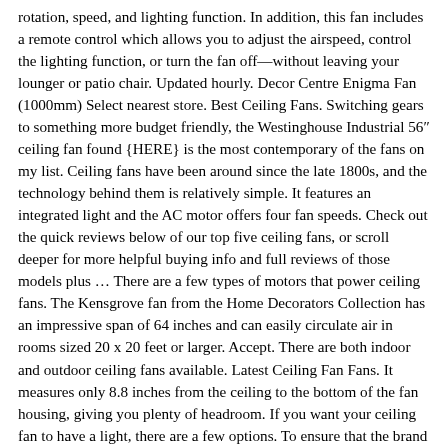rotation, speed, and lighting function. In addition, this fan includes a remote control which allows you to adjust the airspeed, control the lighting function, or turn the fan off—without leaving your lounger or patio chair. Updated hourly. Decor Centre Enigma Fan (1000mm) Select nearest store. Best Ceiling Fans. Switching gears to something more budget friendly, the Westinghouse Industrial 56″ ceiling fan found {HERE} is the most contemporary of the fans on my list. Ceiling fans have been around since the late 1800s, and the technology behind them is relatively simple. It features an integrated light and the AC motor offers four fan speeds. Check out the quick reviews below of our top five ceiling fans, or scroll deeper for more helpful buying info and full reviews of those models plus … There are a few types of motors that power ceiling fans. The Kensgrove fan from the Home Decorators Collection has an impressive span of 64 inches and can easily circulate air in rooms sized 20 x 20 feet or larger. Accept. There are both indoor and outdoor ceiling fans available. Latest Ceiling Fan Fans. It measures only 8.8 inches from the ceiling to the bottom of the fan housing, giving you plenty of headroom. If you want your ceiling fan to have a light, there are a few options. To ensure that the brand retains its reputation as well as pushing it to greater levels, the brand employs the new technologies, designs, aesthetics, and trends to … Best Ceiling Fans of 2020 Most Popular Honeywell Ceiling Fans Weight 20.3 pounds Dimensions 52″ Color Matte Black Material Steel Air Flow Capacity 548 CFM Best Value Under … Premium 54 inch 47.35 mph Dimensions 44″ 7 d